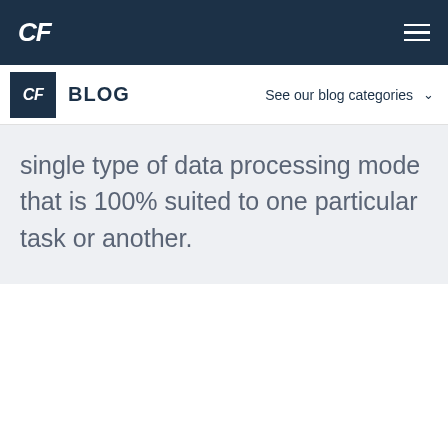CF
CF BLOG  See our blog categories
single type of data processing mode that is 100% suited to one particular task or another.